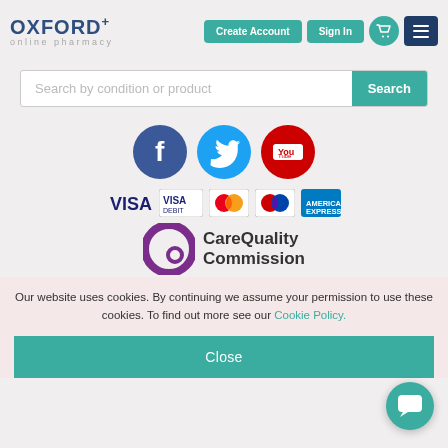[Figure (logo): Oxford Online Pharmacy logo with 'OXFORD+' text and 'online pharmacy' subtitle]
[Figure (screenshot): Create Account and Sign In buttons, basket icon, and hamburger menu in teal/dark blue]
[Figure (screenshot): Search bar with placeholder 'Search by condition or product' and teal Search button]
[Figure (screenshot): Social media icons: Facebook (blue), Twitter (blue), YouTube (red)]
[Figure (screenshot): Payment method icons: VISA text, VISA Debit, Mastercard, Maestro, American Express]
[Figure (logo): Care Quality Commission logo with purple ring icon and text 'CareQuality Commission']
Our website uses cookies. By continuing we assume your permission to use these cookies. To find out more see our Cookie Policy.
Close